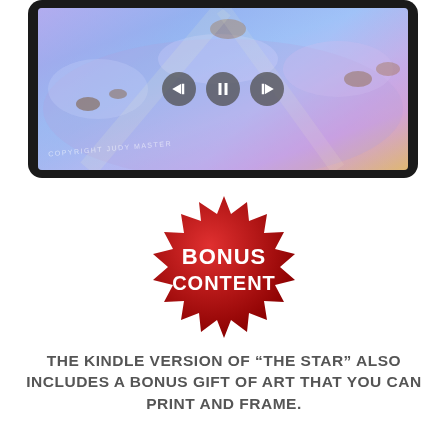[Figure (illustration): Tablet device showing a fantasy illustration of animals flying through a purple/blue sky with clouds. The screen has media playback controls (previous, pause, next) overlaid. A watermark reads COPYRIGHT JUDY MASTER.]
[Figure (illustration): Red starburst badge/seal with white bold text reading BONUS CONTENT in two lines.]
THE KINDLE VERSION OF “THE STAR” ALSO INCLUDES A BONUS GIFT OF ART THAT YOU CAN PRINT AND FRAME.